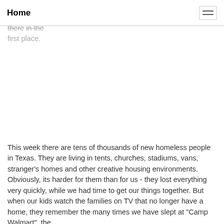Home
day. One of the biggest needs in Austin, at the time, was the street kids on the main drag. That was a big reason we went there in the first place.
This week there are tens of thousands of new homeless people in Texas. They are living in tents, churches, stadiums, vans, stranger's homes and other creative housing environments. Obviously, its harder for them than for us - they lost everything very quickly, while we had time to get our things together. But when our kids watch the families on TV that no longer have a home, they remember the many times we have slept at "Camp Walmart", the